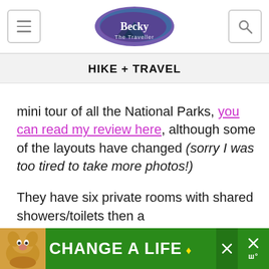Becky The Traveller — navigation header with menu and search buttons
HIKE + TRAVEL
mini tour of all the National Parks, you can read my review here, although some of the layouts have changed (sorry I was too tired to take more photos!)
They have six private rooms with shared showers/toilets then a
[Figure (other): Advertisement banner: dog image on left, green background with white text 'CHANGE A LIFE' and close buttons]